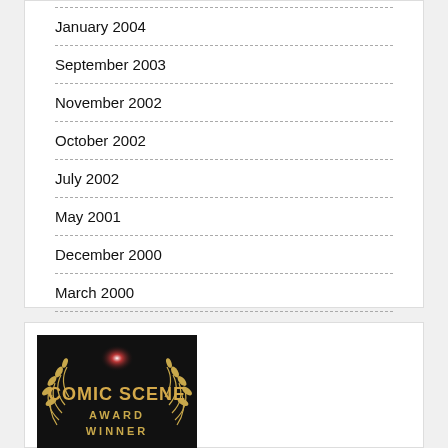January 2004
September 2003
November 2002
October 2002
July 2002
May 2001
December 2000
March 2000
[Figure (logo): Comic Scene Award Winner logo on black background with laurel wreath and glowing red/white star burst]